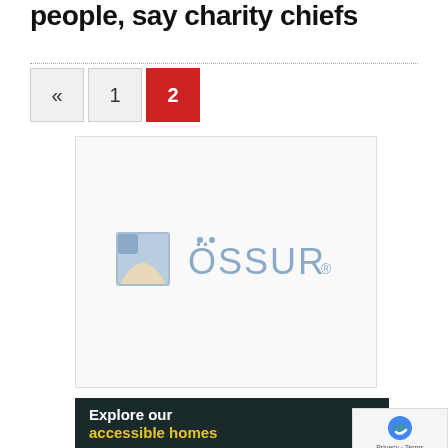people, say charity chiefs
[Figure (logo): Össur logo with blue/grey brand colors and stylized icon]
[Figure (infographic): Dark banner ad reading 'Explore our accessible homes']
[Figure (other): reCAPTCHA badge with Privacy and Terms links]